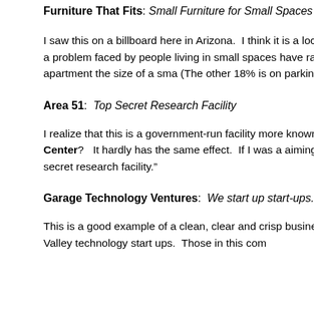Furniture That Fits:  Small Furniture for Small Spaces
I saw this on a billboard here in Arizona.  I think it is a local store.  Th owned by a company that is called “A Perfect Space.”  But I like it as speaking directly to a problem faced by people living in small spaces have raging success targeting people in New York City or San Franc spend 82% of your salary on rent for an apartment the size of a sma (The other 18% is on parking tickets since there is rarely a garage a street is a nightmare).
Area 51:  Top Secret Research Facility
I realize that this is a government-run facility more known for UFO co than a spunky brand name.  But what if they had chosen to call it the Range Research Center?   It hardly has the same effect.  If I was a aiming to take over the world, or build a better bomb or whatever the certainly would want to be part of a “top secret research facility.”
Garage Technology Ventures:  We start up start-ups.  Early Stage
This is a good example of a clean, clear and crisp business and bra have to guess what they do.  The garage part of their brand is very p target market, Silicon Valley technology start ups.  Those in this com